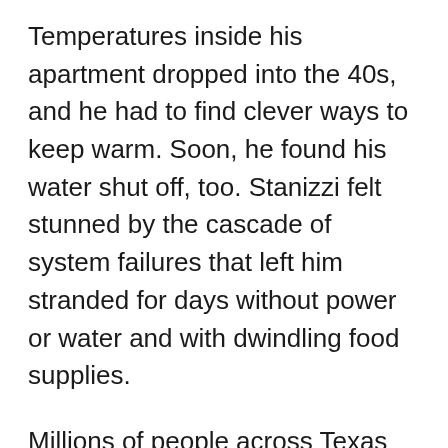Temperatures inside his apartment dropped into the 40s, and he had to find clever ways to keep warm. Soon, he found his water shut off, too. Stanizzi felt stunned by the cascade of system failures that left him stranded for days without power or water and with dwindling food supplies.
Millions of people across Texas faced the same untenable situation, [link] one that cost at least 80 [link] lives. Sadly, it could have been avoided had state power generators heeded the lessons from similar winter disasters in [continues]